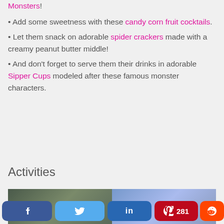Monsters!
• Add some sweetness with these candy corn fruit cocktails.
• Let them snack on adorable spider crackers made with a creamy peanut butter middle!
• And don't forget to serve them their drinks in adorable Sipper Cups modeled after these famous monster characters.
Activities
[Figure (photo): Two photos side by side showing food/party items]
Social share bar: Facebook, Twitter, LinkedIn, Pinterest 281, Reddit